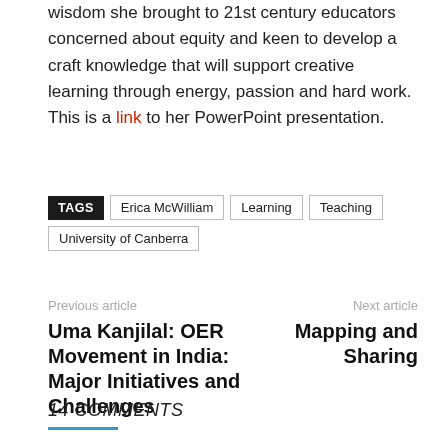wisdom she brought to 21st century educators concerned about equity and keen to develop a craft knowledge that will support creative learning through energy, passion and hard work.
This is a link to her PowerPoint presentation.
TAGS  Erica McWilliam  Learning  Teaching  University of Canberra
Previous article
Uma Kanjilal: OER Movement in India: Major Initiatives and Challenges
Next article
Mapping and Sharing
14 COMMENTS